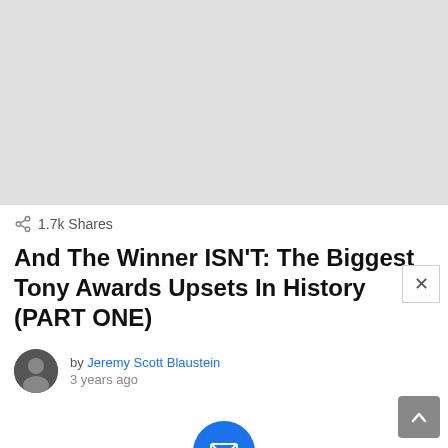[Figure (photo): Hero image placeholder — light gray rectangle]
1.7k Shares
And The Winner ISN'T: The Biggest Tony Awards Upsets In History (PART ONE)
by Jeremy Scott Blaustein
3 years ago
[Figure (illustration): Blue circle with white envelope icon — email signup widget]
Join The Prop Room FREE